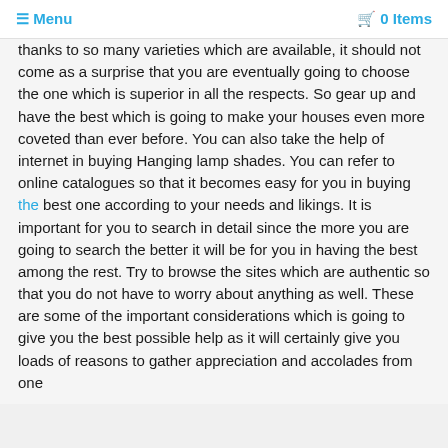≡ Menu   🛒 0 Items
thanks to so many varieties which are available, it should not come as a surprise that you are eventually going to choose the one which is superior in all the respects. So gear up and have the best which is going to make your houses even more coveted than ever before. You can also take the help of internet in buying Hanging lamp shades. You can refer to online catalogues so that it becomes easy for you in buying the best one according to your needs and likings. It is important for you to search in detail since the more you are going to search the better it will be for you in having the best among the rest. Try to browse the sites which are authentic so that you do not have to worry about anything as well. These are some of the important considerations which is going to give you the best possible help as it will certainly give you loads of reasons to gather appreciation and accolades from one